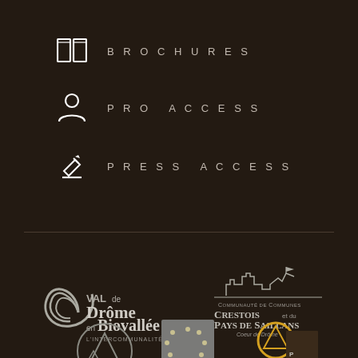BROCHURES
PRO ACCESS
PRESS ACCESS
[Figure (logo): Val de Drôme en Biovallée L'INTERCOMMUNALITÉ logo in grey/white on dark background]
[Figure (logo): Communauté de Communes Crestois et du Pays de Saillans, Coeur de Drôme logo in grey on dark background]
[Figure (logo): Mountain peak logo (grey circle) at bottom left]
[Figure (logo): European Union stars logo in grey square]
[Figure (logo): Partial yellow/gold mountain logo at bottom right]